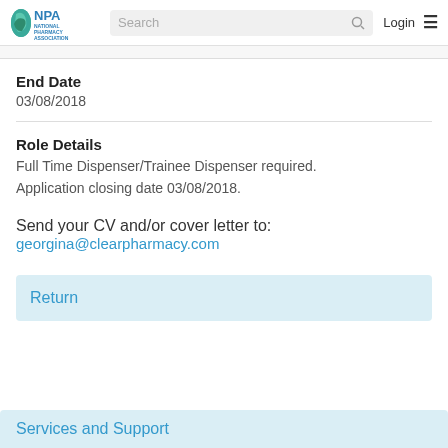NPA National Pharmacy Association | Search | Login
End Date
03/08/2018
Role Details
Full Time Dispenser/Trainee Dispenser required. Application closing date 03/08/2018.
Send your CV and/or cover letter to: georgina@clearpharmacy.com
Return
Services and Support